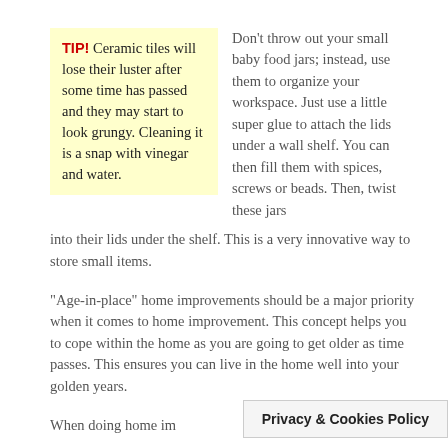TIP! Ceramic tiles will lose their luster after some time has passed and they may start to look grungy. Cleaning it is a snap with vinegar and water.
Don't throw out your small baby food jars; instead, use them to organize your workspace. Just use a little super glue to attach the lids under a wall shelf. You can then fill them with spices, screws or beads. Then, twist these jars into their lids under the shelf. This is a very innovative way to store small items.
“Age-in-place” home improvements should be a major priority when it comes to home improvement. This concept helps you to cope within the home as you are going to get older as time passes. This ensures you can live in the home well into your golden years.
When doing home im
Privacy & Cookies Policy